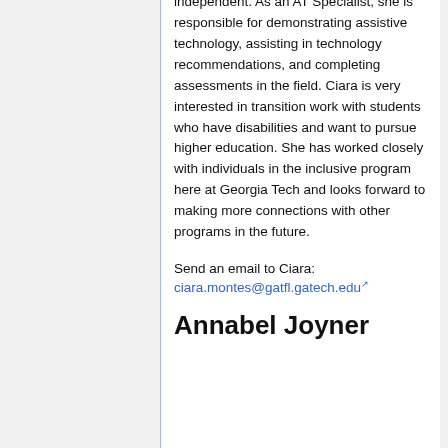independent. As an AT Specialist, she is responsible for demonstrating assistive technology, assisting in technology recommendations, and completing assessments in the field. Ciara is very interested in transition work with students who have disabilities and want to pursue higher education. She has worked closely with individuals in the inclusive program here at Georgia Tech and looks forward to making more connections with other programs in the future.
Send an email to Ciara: ciara.montes@gatfl.gatech.edu
Annabel Joyner